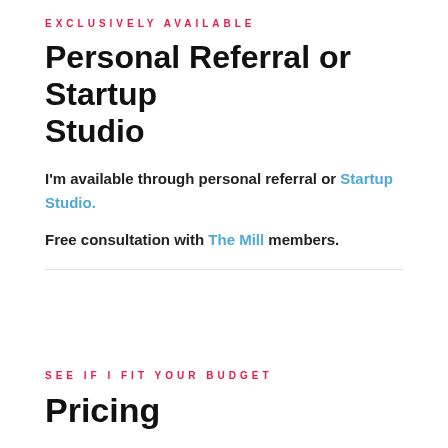EXCLUSIVELY AVAILABLE
Personal Referral or Startup Studio
I'm available through personal referral or Startup Studio.
Free consultation with The Mill members.
SEE IF I FIT YOUR BUDGET
Pricing